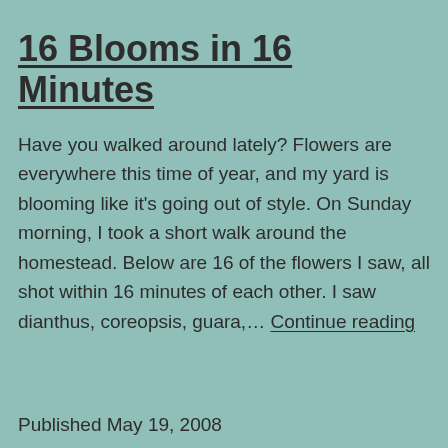16 Blooms in 16 Minutes
Have you walked around lately? Flowers are everywhere this time of year, and my yard is blooming like it's going out of style. On Sunday morning, I took a short walk around the homestead. Below are 16 of the flowers I saw, all shot within 16 minutes of each other. I saw dianthus, coreopsis, guara,… Continue reading
Published May 19, 2008